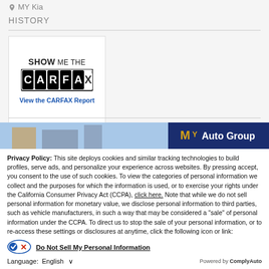MY Kia
HISTORY
[Figure (logo): SHOW ME THE CARFAX logo with link 'View the CARFAX Report']
[Figure (photo): MY Auto Group banner image with photo of buildings and gold logo text]
Privacy Policy: This site deploys cookies and similar tracking technologies to build profiles, serve ads, and personalize your experience across websites. By pressing accept, you consent to the use of such cookies. To view the categories of personal information we collect and the purposes for which the information is used, or to exercise your rights under the California Consumer Privacy Act (CCPA), click here. Note that while we do not sell personal information for monetary value, we disclose personal information to third parties, such as vehicle manufacturers, in such a way that may be considered a "sale" of personal information under the CCPA. To direct us to stop the sale of your personal information, or to re-access these settings or disclosures at anytime, click the following icon or link:
Do Not Sell My Personal Information
Language: English
Powered by ComplyAuto
Accept and Continue →
California Privacy Disclosures